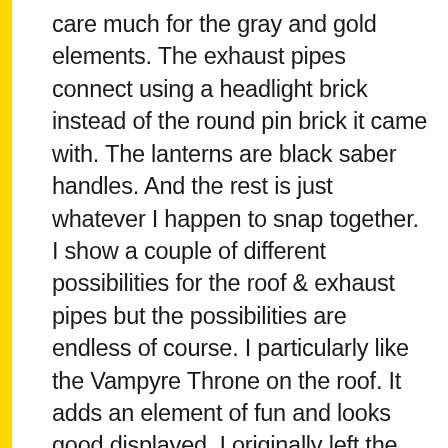care much for the gray and gold elements. The exhaust pipes connect using a headlight brick instead of the round pin brick it came with. The lanterns are black saber handles. And the rest is just whatever I happen to snap together. I show a couple of different possibilities for the roof & exhaust pipes but the possibilities are endless of course. I particularly like the Vampyre Throne on the roof. It adds an element of fun and looks good displayed. I originally left the sticker off – and it looks fierce that way – but after building the castle and seeing just how cool all the glow in the dark pieces are, I couldn't help it. I'm in love with this theme – much more than I